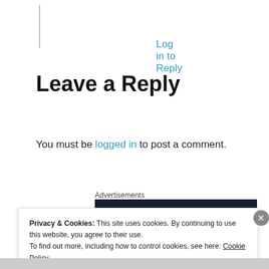Log in to Reply
Leave a Reply
You must be logged in to post a comment.
Advertisements
[Figure (logo): Built By WordPress logo banner — dark navy background with white text 'Built By' and WordPress circular logo icon]
Privacy & Cookies: This site uses cookies. By continuing to use this website, you agree to their use.
To find out more, including how to control cookies, see here: Cookie Policy
Close and accept